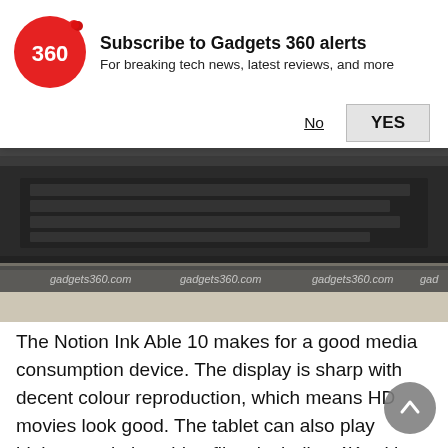[Figure (logo): Gadgets 360 red circle logo with '360' text]
Subscribe to Gadgets 360 alerts
For breaking tech news, latest reviews, and more
No   YES
[Figure (photo): Close-up photo of a dark keyboard/tablet device on a light surface, with gadgets360.com watermark repeated across a grey bar]
The Notion Ink Able 10 makes for a good media consumption device. The display is sharp with decent colour reproduction, which means HD movies look good. The tablet can also play higher resolution video files, including 4K, with the native video player. Our biggest issue here was the stereo speakers, which are simply too weak to output good audio. In fact, the sound is barely audible even when you max out the volume and with Intel's equaliser enabled. Thankfully, the